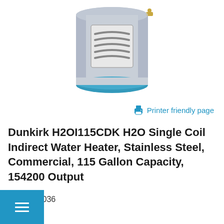[Figure (photo): Water heater product photo — cylindrical stainless steel tank with heating coil visible through a cutout window, blue base ring, brass fitting on top right]
Printer friendly page
Dunkirk H2OI115CDK H2O Single Coil Indirect Water Heater, Stainless Steel, Commercial, 115 Gallon Capacity, 154200 Output
SKU: 389036